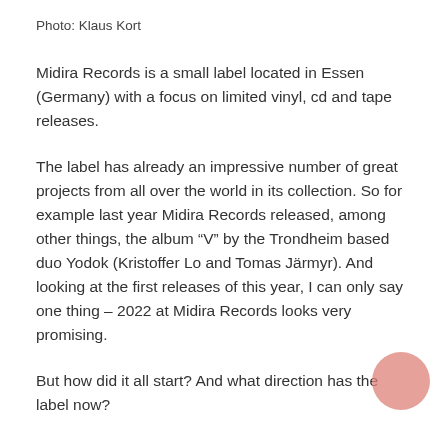Photo: Klaus Kort
Midira Records is a small label located in Essen (Germany) with a focus on limited vinyl, cd and tape releases.
The label has already an impressive number of great projects from all over the world in its collection. So for example last year Midira Records released, among other things, the album “V” by the Trondheim based duo Yodok (Kristoffer Lo and Tomas Järmyr). And looking at the first releases of this year, I can only say one thing – 2022 at Midira Records looks very promising.
But how did it all start? And what direction has the label now?